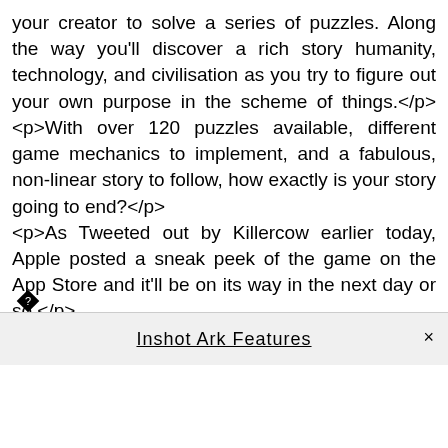your creator to solve a series of puzzles. Along the way you'll discover a rich story humanity, technology, and civilisation as you try to figure out your own purpose in the scheme of things.</p><p>With over 120 puzzles available, different game mechanics to implement, and a fabulous, non-linear story to follow, how exactly is your story going to end?</p><p>As Tweeted out by Killercow earlier today, Apple posted a sneak peek of the game on the App Store and it'll be on its way in the next day or so.</p>
[Figure (other): Black diamond/rotated square icon]
Inshot Ark Features